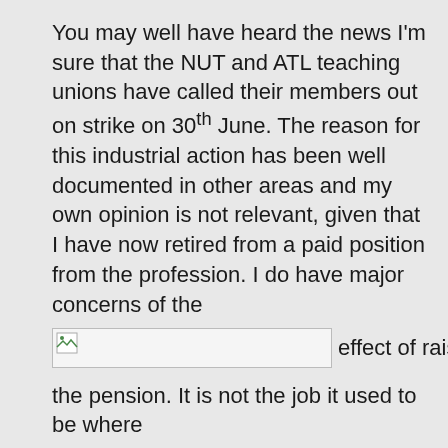You may well have heard the news I'm sure that the NUT and ATL teaching unions have called their members out on strike on 30th June. The reason for this industrial action has been well documented in other areas and my own opinion is not relevant, given that I have now retired from a paid position from the profession. I do have major concerns of the
[Figure (other): Broken/missing image placeholder with icon, followed by inline text 'effect of raising']
the pension. It is not the job it used to be where